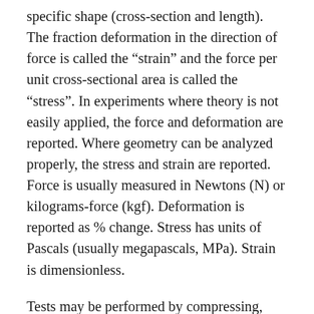specific shape (cross-section and length). The fraction deformation in the direction of force is called the “strain” and the force per unit cross-sectional area is called the “stress”. In experiments where theory is not easily applied, the force and deformation are reported. Where geometry can be analyzed properly, the stress and strain are reported. Force is usually measured in Newtons (N) or kilograms-force (kgf). Deformation is reported as % change. Stress has units of Pascals (usually megapascals, MPa). Strain is dimensionless.
Tests may be performed by compressing, stretching (tension) or twisting (torsion) the specimen. For brittle materials, different strengths are obtained for each mode of